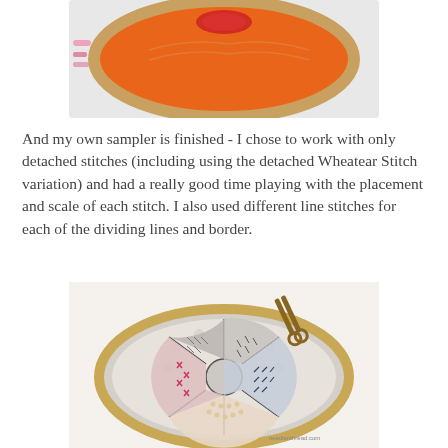[Figure (photo): Top portion of an embroidery hoop showing orange fabric with red/pink embroidery stitches at the top, with colorful threads visible on the left side.]
And my own sampler is finished - I chose to work with only detached stitches (including using the detached Wheatear Stitch variation) and had a really good time playing with the placement and scale of each stitch. I also used different line stitches for each of the dividing lines and border.
[Figure (photo): Embroidery hoop with a circular sampler divided into pie-like sections, each filled with different embroidery stitches in various colors including pink, blue, grey/silver, and peach/cream. A pair of gold scissors rests on top of the hoop. The hoop has a wooden frame.]